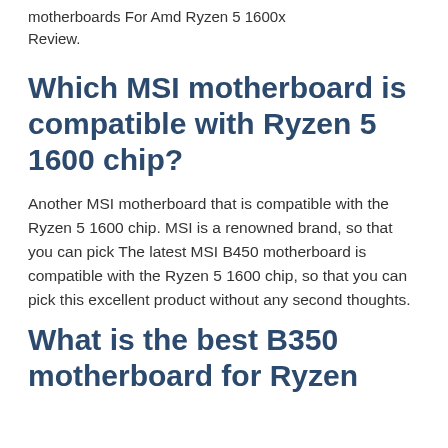motherboards For Amd Ryzen 5 1600x Review.
Which MSI motherboard is compatible with Ryzen 5 1600 chip?
Another MSI motherboard that is compatible with the Ryzen 5 1600 chip. MSI is a renowned brand, so that you can pick The latest MSI B450 motherboard is compatible with the Ryzen 5 1600 chip, so that you can pick this excellent product without any second thoughts.
What is the best B350 motherboard for Ryzen